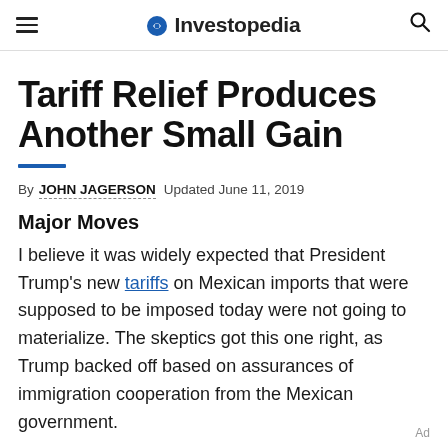Investopedia
Tariff Relief Produces Another Small Gain
By JOHN JAGERSON  Updated June 11, 2019
Major Moves
I believe it was widely expected that President Trump's new tariffs on Mexican imports that were supposed to be imposed today were not going to materialize. The skeptics got this one right, as Trump backed off based on assurances of immigration cooperation from the Mexican government.